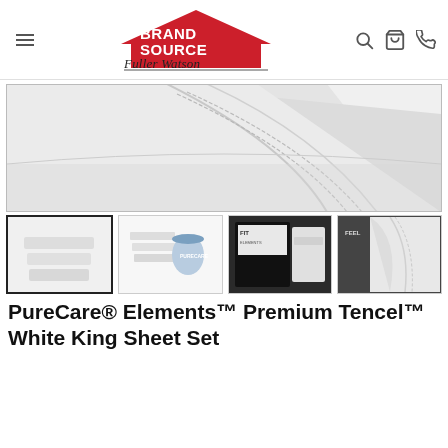BrandSource Fuller Watson Home Furnishings
[Figure (photo): Close-up product photo of folded white sheets showing fabric texture and stitching detail]
[Figure (photo): Thumbnail 1: Folded white sheet set on white surface]
[Figure (photo): Thumbnail 2: Sheet set package next to a round product canister]
[Figure (photo): Thumbnail 3: White sheet set in dark packaging with FIT label]
[Figure (photo): Thumbnail 4: Close-up of white sheets with FEEL label]
PureCare® Elements™ Premium Tencel™ White King Sheet Set